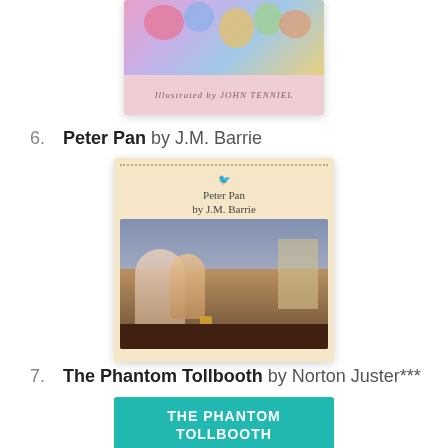[Figure (illustration): Partial view of a book cover from the previous entry (top of page, cropped) — colorful illustration with text 'Illustrated by JOHN TENNIEL' at bottom]
6.  Peter Pan by J.M. Barrie
[Figure (illustration): Book cover of Peter Pan by J.M. Barrie — tan/peach cover showing children and a fairy-like figure in a nighttime scene]
7.  The Phantom Tollbooth by Norton Juster***
[Figure (illustration): Book cover of The Phantom Tollbooth — teal/turquoise cover with white text 'THE PHANTOM TOLLBOOTH' and illustration of a colorful bird creature]